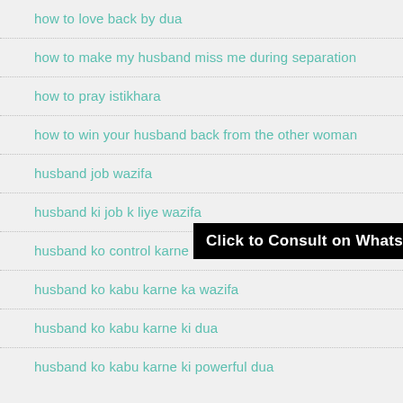how to love back by dua
how to make my husband miss me during separation
how to pray istikhara
how to win your husband back from the other woman
husband job wazifa
husband ki job k liye wazifa
husband ko control karne ka wazifa
husband ko kabu karne ka wazifa
husband ko kabu karne ki dua
husband ko kabu karne ki powerful dua
[Figure (screenshot): Black banner overlay with white bold text: 'Click to Consult on Whatsapp']